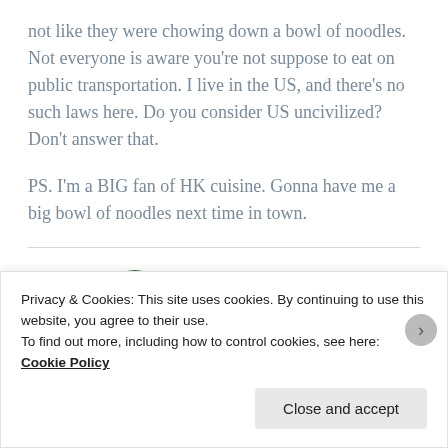not like they were chowing down a bowl of noodles. Not everyone is aware you're not suppose to eat on public transportation. I live in the US, and there's no such laws here. Do you consider US uncivilized? Don't answer that.
PS. I'm a BIG fan of HK cuisine. Gonna have me a big bowl of noodles next time in town.
[Figure (illustration): Green avatar icon - semicircle/arch shape in dark green representing a user profile picture]
Privacy & Cookies: This site uses cookies. By continuing to use this website, you agree to their use.
To find out more, including how to control cookies, see here: Cookie Policy